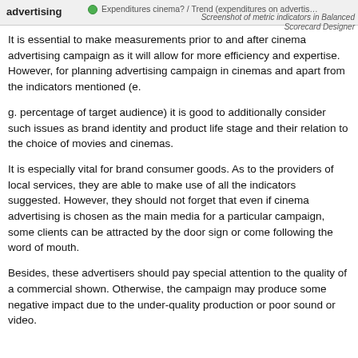advertising | Expenditures cinema? / Trend (expenditures on advertising) | Screenshot of metric indicators in Balanced Scorecard Designer
It is essential to make measurements prior to and after cinema advertising campaign as it will allow for more efficiency and expertise. However, for planning advertising campaign in cinemas and apart from the indicators mentioned (e.
g. percentage of target audience) it is good to additionally consider such issues as brand identity and product life stage and their relation to the choice of movies and cinemas.
It is especially vital for brand consumer goods. As to the providers of local services, they are able to make use of all the indicators suggested. However, they should not forget that even if cinema advertising is chosen as the main media for a particular campaign, some clients can be attracted by the door sign or come following the word of mouth.
Besides, these advertisers should pay special attention to the quality of a commercial shown. Otherwise, the campaign may produce some negative impact due to the under-quality production or poor sound or video.